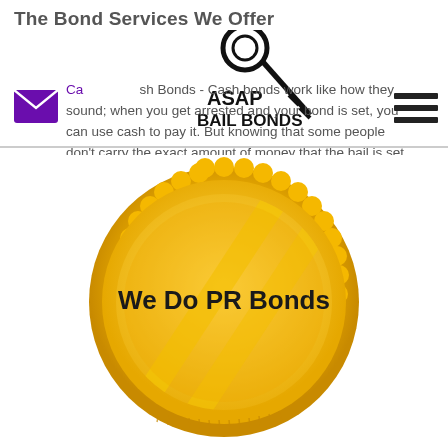The Bond Services We Offer
[Figure (logo): ASAP Bail Bonds logo with key graphic]
Cash Bonds - Cash bonds work like how they sound; when you get arrested and your bond is set, you can use cash to pay it. But knowing that some people don't carry the exact amount of money that the bail is set at.
[Figure (illustration): Gold scalloped badge/seal with diagonal stripe pattern and bold text reading 'We Do PR Bonds']